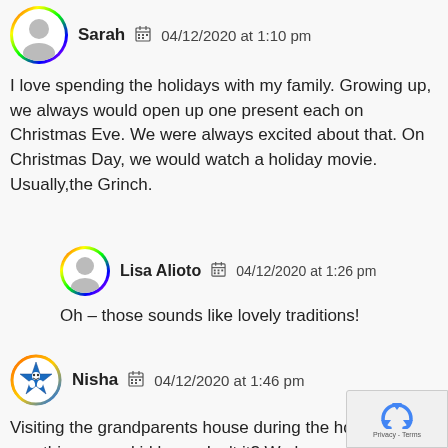Sarah   04/12/2020 at 1:10 pm
I love spending the holidays with my family. Growing up, we always would open up one present each on Christmas Eve. We were always excited about that. On Christmas Day, we would watch a holiday movie. Usually,the Grinch.
Lisa Alioto   04/12/2020 at 1:26 pm
Oh – those sounds like lovely traditions!
Nisha   04/12/2020 at 1:46 pm
Visiting the grandparents house during the holidays is one thing every kid loves. Isn't it? We love